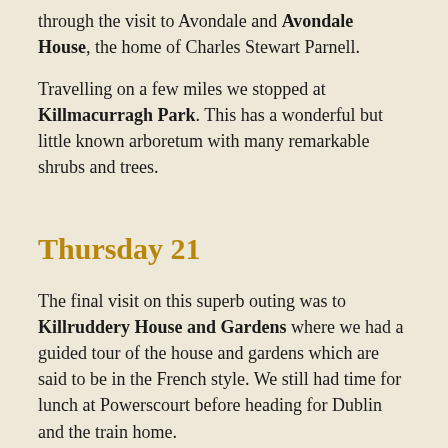through the visit to Avondale and Avondale House, the home of Charles Stewart Parnell.
Travelling on a few miles we stopped at Killmacurragh Park. This has a wonderful but little known arboretum with many remarkable shrubs and trees.
Thursday 21
The final visit on this superb outing was to Killruddery House and Gardens where we had a guided tour of the house and gardens which are said to be in the French style. We still had time for lunch at Powerscourt before heading for Dublin and the train home.